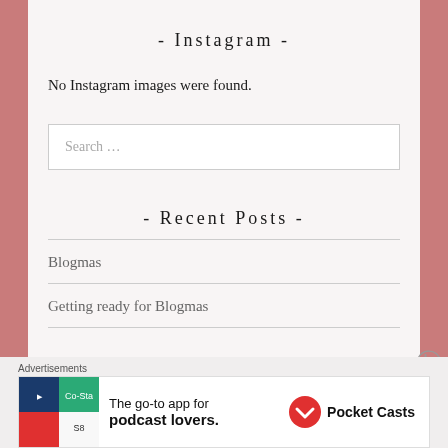- Instagram -
No Instagram images were found.
Search ...
- Recent Posts -
Blogmas
Getting ready for Blogmas
Advertisements
[Figure (other): Advertisement banner for Pocket Casts: The go-to app for podcast lovers.]